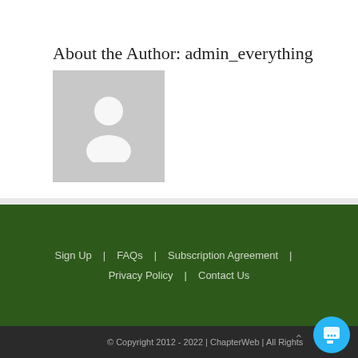About the Author: admin_everything
[Figure (illustration): Generic user avatar placeholder image - grey square with silhouette of a person (head and shoulders)]
Sign Up  |  FAQs  |  Subscription Agreement  |  Privacy Policy  |  Contact Us
© Copyright 2012 - 2022 | ChapterWeb | All Rights